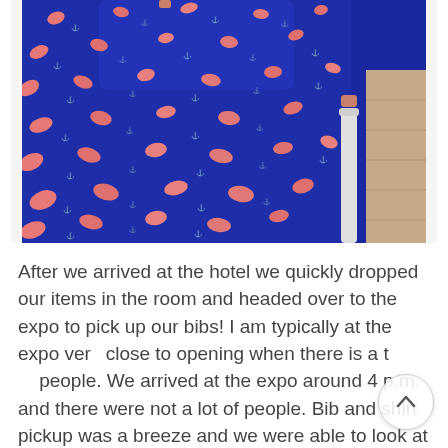[Figure (photo): Close-up photograph of blue upholstered transit/venue chairs with a repeating pink flame/fish and small white anchor/leaf pattern on the fabric. The chairs have silver/white metal armrests visible on the right side, and a wood-tone floor is visible in the upper right background.]
After we arrived at the hotel we quickly dropped our items in the room and headed over to the expo to pick up our bibs! I am typically at the expo very close to opening when there is a ton of people. We arrived at the expo around 4 p.m. and there were not a lot of people. Bib and shirt pickup was a breeze and we were able to look at all